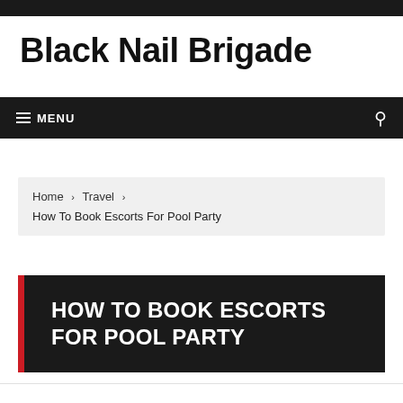Black Nail Brigade
≡ MENU
Home › Travel › How To Book Escorts For Pool Party
HOW TO BOOK ESCORTS FOR POOL PARTY